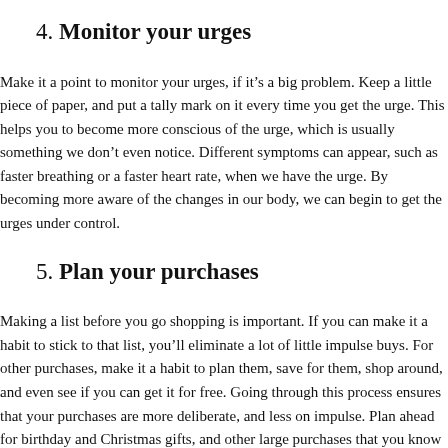4. Monitor your urges
Make it a point to monitor your urges, if it’s a big problem. Keep a little piece of paper, and put a tally mark on it every time you get the urge. This helps you to become more conscious of the urge, which is usually something we don’t even notice. Different symptoms can appear, such as faster breathing or a faster heart rate, when we have the urge. By becoming more aware of the changes in our body, we can begin to get the urges under control.
5. Plan your purchases
Making a list before you go shopping is important. If you can make it a habit to stick to that list, you’ll eliminate a lot of little impulse buys. For other purchases, make it a habit to plan them, save for them, shop around, and even see if you can get it for free. Going through this process ensures that your purchases are more deliberate, and less on impulse. Plan ahead for birthday and Christmas gifts, and other large purchases that you know